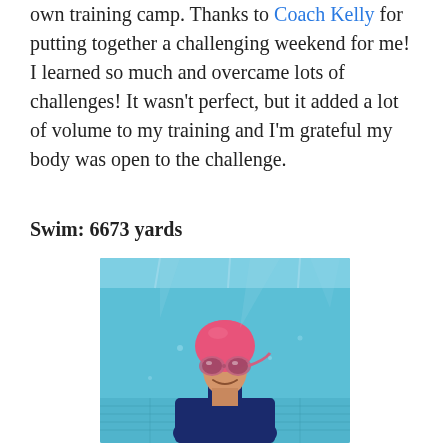own training camp. Thanks to Coach Kelly for putting together a challenging weekend for me! I learned so much and overcame lots of challenges! It wasn't perfect, but it added a lot of volume to my training and I'm grateful my body was open to the challenge.
Swim: 6673 yards
[Figure (photo): Underwater photo of a woman wearing a pink swim cap and pink goggles, smiling at the camera in a swimming pool. She is wearing a navy blue swimsuit. The pool interior is visible with lane lines and tiled bottom in shades of blue.]